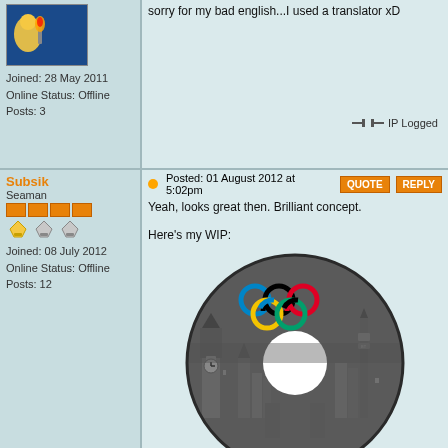sorry for my bad english...I used a translator xD
Joined: 28 May 2011
Online Status: Offline
Posts: 3
[Figure (infographic): IP Logged icon with capacitor symbol]
Subsik
Seaman
Posted: 01 August 2012 at 5:02pm
Yeah, looks great then. Brilliant concept.

Here's my WIP:
[Figure (illustration): A CD/disc artwork featuring London skyline in grayscale with Big Ben and BT Tower, with Olympic rings (blue, black, red, yellow, green) at the top center, and a white hole in the center of the disc]
Joined: 08 July 2012
Online Status: Offline
Posts: 12
[Figure (infographic): IP Logged icon with capacitor symbol]